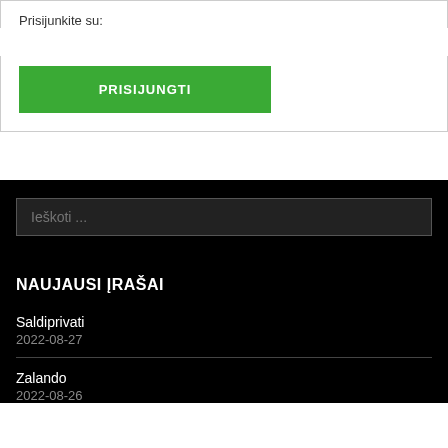Prisijunkite su:
[Figure (other): Green PRISIJUNGTI button]
Ieškoti ...
NAUJAUSI ĮRAŠAI
Saldiprivati
2022-08-27
Zalando
2022-08-26